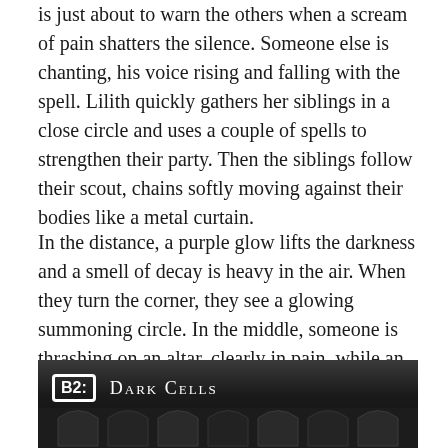is just about to warn the others when a scream of pain shatters the silence. Someone else is chanting, his voice rising and falling with the spell. Lilith quickly gathers her siblings in a close circle and uses a couple of spells to strengthen their party. Then the siblings follow their scout, chains softly moving against their bodies like a metal curtain.
In the distance, a purple glow lifts the darkness and a smell of decay is heavy in the air. When they turn the corner, they see a glowing summoning circle. In the middle, someone is thrashing on an altar, clearly in pain, while an arcane drow is pulling energy from his victim. Smears of blood surround the frightful scene.
[Figure (photo): Dark grayscale image of dungeon cells with stone arches, labeled with a boxed 'B2:' marker and the title 'Dark Cells' in small caps white text.]